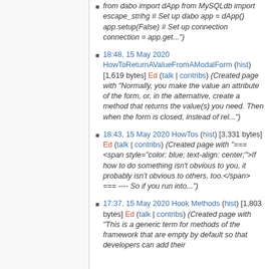from dabo import dApp from MySQLdb import escape_strihg # Set up dabo app = dApp() app.setup(False) # Set up connection connection = app.get...")
18:48, 15 May 2020 HowToReturnAValueFromAModalForm (hist) [1,619 bytes] Ed (talk | contribs) (Created page with "Normally, you make the value an attribute of the form, or, in the alternative, create a method that returns the value(s) you need. Then when the form is closed, instead of rel...")
18:43, 15 May 2020 HowTos (hist) [3,331 bytes] Ed (talk | contribs) (Created page with "=== <span style="color: blue; text-align: center;">If how to do something isn't obvious to you, it probably isn't obvious to others, too.</span> === ---- So if you run into...")
17:37, 15 May 2020 Hook Methods (hist) [1,803 bytes] Ed (talk | contribs) (Created page with "This is a generic term for methods of the framework that are empty by default so that developers can add their...